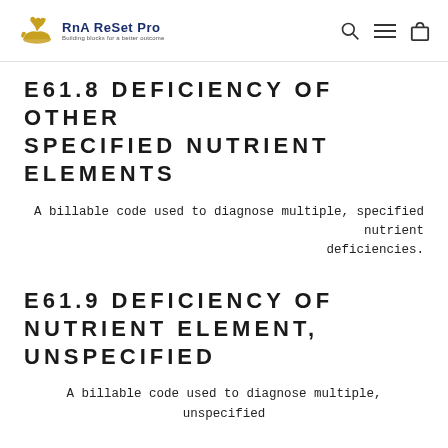RnA ReSet Pro — Building blocks for a better outcome
E61.8 DEFICIENCY OF OTHER SPECIFIED NUTRIENT ELEMENTS
A billable code used to diagnose multiple, specified nutrient deficiencies.
E61.9 DEFICIENCY OF NUTRIENT ELEMENT, UNSPECIFIED
A billable code used to diagnose multiple, unspecified